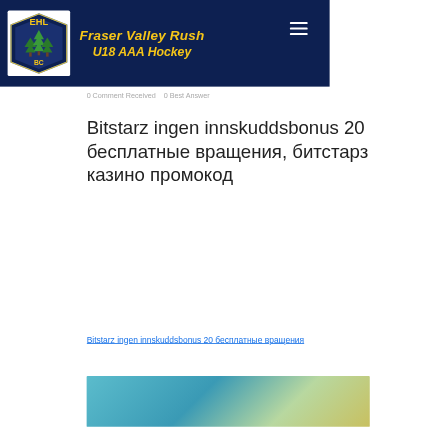Fraser Valley Rush U18 AAA Hockey
0 Comment Received   0 Best Answer
Bitstarz ingen innskuddsbonus 20 бесплатные вращения, битстарз казино промокод
Bitstarz ingen innskuddsbonus 20 бесплатные вращения
[Figure (photo): Blurred decorative image with teal and gold tones]